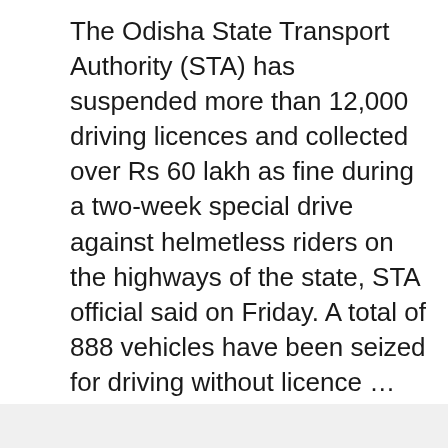The Odisha State Transport Authority (STA) has suspended more than 12,000 driving licences and collected over Rs 60 lakh as fine during a two-week special drive against helmetless riders on the highways of the state, STA official said on Friday. A total of 888 vehicles have been seized for driving without licence … Read more
World News
drive, helmetless, licences, riding, special, suspended
Leave a comment